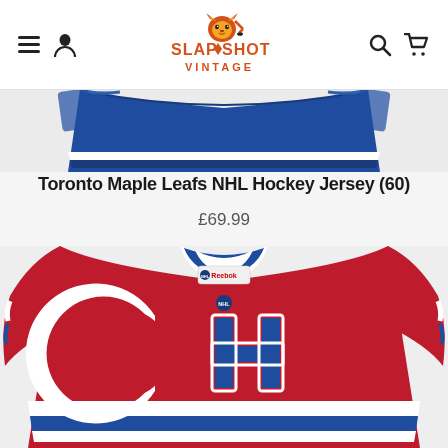Slapshot Vintage — navigation header with hamburger, user, search, cart icons and logo
[Figure (photo): Bottom portion of a blue Toronto Maple Leafs NHL hockey jersey on a light grey background, showing the hem and lower body of the jersey]
Toronto Maple Leafs NHL Hockey Jersey (60)
£69.99
[Figure (photo): Montreal Canadiens red NHL hockey jersey (Reebok) on a light grey background, showing the V-neck collar with blue and white trim, the large CH logo on the chest, and blue/white striping at the bottom hem]